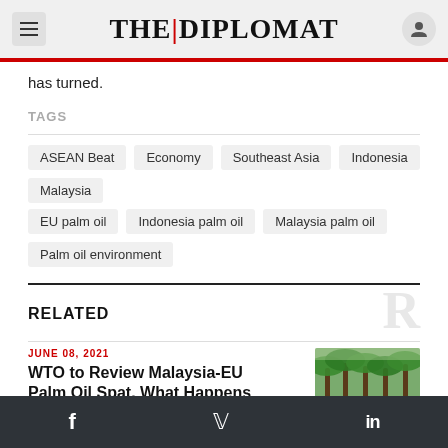THE DIPLOMAT
has turned.
TAGS
ASEAN Beat
Economy
Southeast Asia
Indonesia
Malaysia
EU palm oil
Indonesia palm oil
Malaysia palm oil
Palm oil environment
RELATED
JUNE 08, 2021
WTO to Review Malaysia-EU Palm Oil Spat. What Happens
[Figure (photo): Palm oil plantation trees, green tropical scene]
Facebook, Twitter, LinkedIn social icons